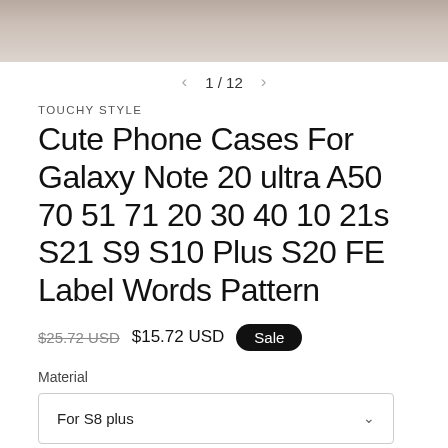[Figure (photo): Partial product photo strip at top of page showing a hand holding a phone case, cropped]
1 / 12
TOUCHY STYLE
Cute Phone Cases For Galaxy Note 20 ultra A50 70 51 71 20 30 40 10 21s S21 S9 S10 Plus S20 FE Label Words Pattern
$25.72 USD  $15.72 USD  Sale
Material
For S8 plus
Color